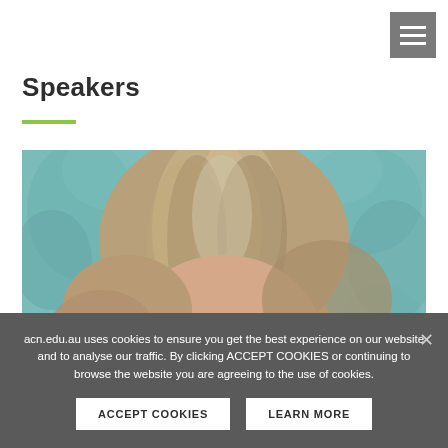[Figure (other): Hamburger/menu icon with three white horizontal lines on grey square background, top right corner]
Speakers
[Figure (photo): Close-up photo showing the top half of a woman's face with blonde/grey hair, against a light teal/blue textured background. Only forehead and top of head visible.]
acn.edu.au uses cookies to ensure you get the best experience on our website and to analyse our traffic. By clicking ACCEPT COOKIES or continuing to browse the website you are agreeing to the use of cookies.
ACCEPT COOKIES   LEARN MORE